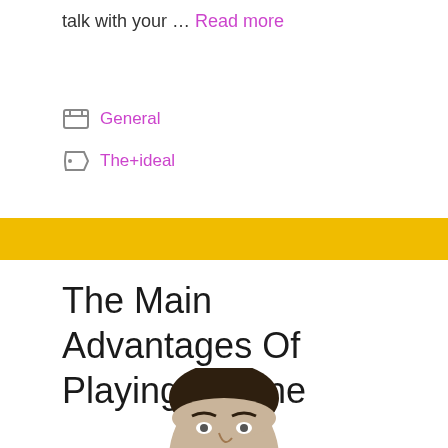talk with your … Read more
General
The+ideal
The Main Advantages Of Playing On-line
[Figure (photo): A man with dark hair looking upward with a surprised or curious expression, photo cut off at forehead level]